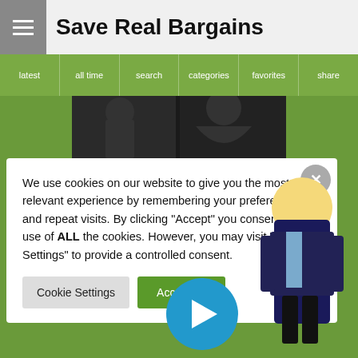Save Real Bargains
latest  all time  search  categories  favorites  share
[Figure (screenshot): Dark fashion dress images]
We use cookies on our website to give you the most relevant experience by remembering your preferences and repeat visits. By clicking "Accept" you consent to the use of ALL the cookies. However, you may visit "Cookie Settings" to provide a controlled consent.
Cookie Settings   Accept All
IF YOU ARE INTERESTED IN... CLICK ON THE DRESSES AND...UR...
♥ 1  👁 1546
[Figure (screenshot): VideoPal.io animated character overlay with play button]
f  Twitter  Reddit  in  Pinterest  mw  Mix  WhatsApp  WordPress  Tumblr  Instagram  Blogger  Messenger  Telegram  Diigo  Xing  Diigo | Share | Like | Tweet | Save | Share | English | Powered By VideoPal.io